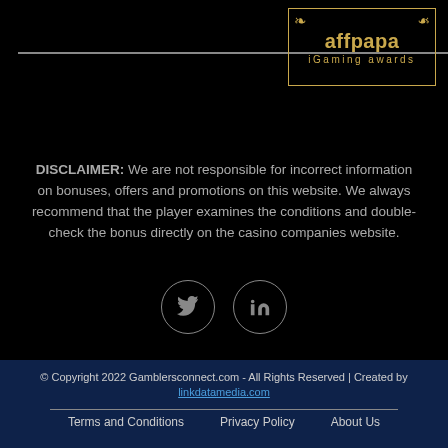[Figure (logo): affpapa iGaming awards logo with golden laurel leaves and border]
DISCLAIMER: We are not responsible for incorrect information on bonuses, offers and promotions on this website. We always recommend that the player examines the conditions and double-check the bonus directly on the casino companies website.
[Figure (infographic): Twitter and LinkedIn social media icon circles]
© Copyright 2022 Gamblersconnect.com - All Rights Reserved | Created by linkdatamedia.com
Terms and Conditions | Privacy Policy | About Us